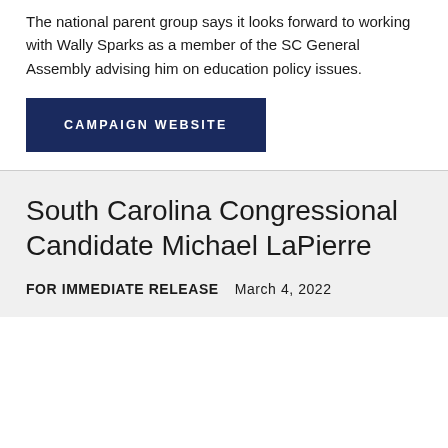The national parent group says it looks forward to working with Wally Sparks as a member of the SC General Assembly advising him on education policy issues.
CAMPAIGN WEBSITE
South Carolina Congressional Candidate Michael LaPierre
FOR IMMEDIATE RELEASE   March 4, 2022